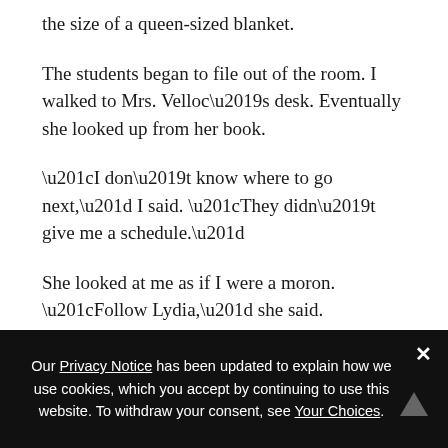the size of a queen-sized blanket.
The students began to file out of the room. I walked to Mrs. Velloc’s desk. Eventually she looked up from her book.
“I don’t know where to go next,” I said. “They didn’t give me a schedule.”
She looked at me as if I were a moron. “Follow Lydia,” she said.
“To where? The office? Because I can—”
“Do what she does. Go where she goes. Your schedule
Our Privacy Notice has been updated to explain how we use cookies, which you accept by continuing to use this website. To withdraw your consent, see Your Choices.